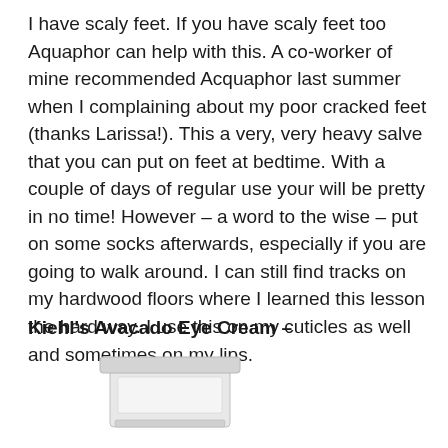I have scaly feet. If you have scaly feet too Aquaphor can help with this. A co-worker of mine recommended Acquaphor last summer when I complaining about my poor cracked feet (thanks Larissa!). This a very, very heavy salve that you can put on feet at bedtime. With a couple of days of regular use your will be pretty in no time! However – a word to the wise – put on some socks afterwards, especially if you are going to walk around. I can still find tracks on my hardwood floors where I learned this lesson the hard way. I use this on my cuticles as well and sometimes on my lips.
Kiehl's Avacado Eye Cream –
[Figure (photo): A white rectangular jar/container of Kiehl's Avocado Eye Cream product, shown from the front, partially cropped at the bottom of the page.]